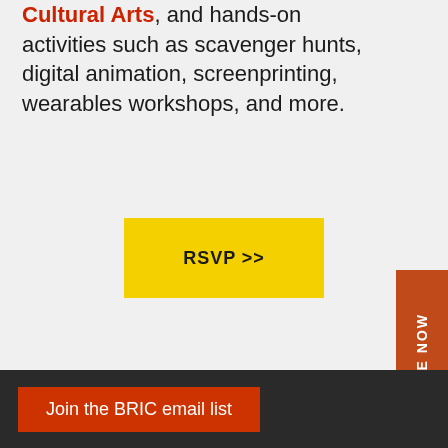Cultural Arts, and hands-on activities such as scavenger hunts, digital animation, screenprinting, wearables workshops, and more.
[Figure (other): Yellow RSVP button with text 'RSVP >>']
[Figure (other): Orange vertical 'GIVE NOW' tab on the right side with a heart icon]
ABOUT BRIC YOUTH EDUCATION
For over three decades, BRIC has been a pioneer in providing exceptional art education to public school students throughout Brooklyn. BRIC's Youth ... by the ... in development from professional artists and media...
[Figure (other): Dark overlay banner with orange button 'Join the BRIC email list']